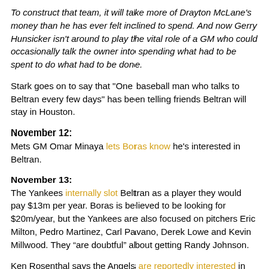To construct that team, it will take more of Drayton McLane's money than he has ever felt inclined to spend. And now Gerry Hunsicker isn't around to play the vital role of a GM who could occasionally talk the owner into spending what had to be spent to do what had to be done.
Stark goes on to say that "One baseball man who talks to Beltran every few days" has been telling friends Beltran will stay in Houston.
November 12:
Mets GM Omar Minaya lets Boras know he's interested in Beltran.
November 13:
The Yankees internally slot Beltran as a player they would pay $13m per year. Boras is believed to be looking for $20m/year, but the Yankees are also focused on pitchers Eric Milton, Pedro Martinez, Carl Pavano, Derek Lowe and Kevin Millwood. They “are doubtful” about getting Randy Johnson.
Ken Rosenthal says the Angels are reportedly interested in signing Mike Piazza to replace the injured DH Tim Salmon, expected to miss most of 2005 following shoulder surgery. If the Angels get Piazza and/or Randy Johnson (as rumored), they won't be able to afford Beltran.